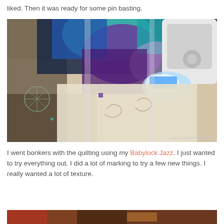liked.  Then it was ready for some pin basting.
[Figure (photo): A quilt being quilted on a sewing machine (Babylock Jazz), showing white quilted fabric with blue, teal, and purple patchwork design, with the machine needle area lit up. Watermark: www.lormillerdesigns.com]
I went bonkers with the quilting using my Babylock Jazz.  I just wanted to try everything out.  I did a lot of marking to try a few new things. I really wanted a lot of texture.
[Figure (photo): Partial view of another photo showing colorful quilting materials, bottom of page]